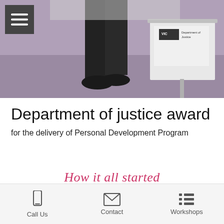[Figure (photo): Photo of a Department of Justice event with a banner/sign, person's feet visible, purple carpet, taken indoors at an event]
Department of justice award
for the delivery of Personal Development Program
How it all started
A bit more about me
Call Us   Contact   Workshops